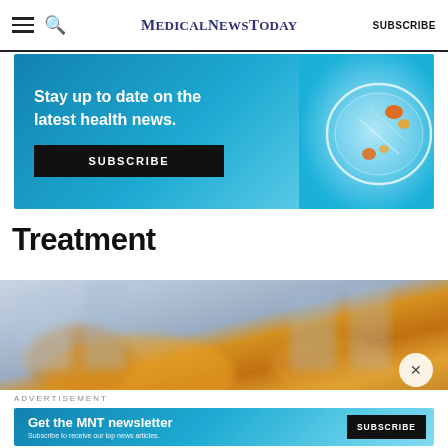MedicalNewsToday  SUBSCRIBE
[Figure (illustration): Advertisement banner: 'Stay up to date on the latest health news. SUBSCRIBE' with a petri dish illustration on a blue gradient background.]
Treatment
[Figure (photo): Blurred close-up photo of orange prescription pill bottles in a pharmacy setting.]
ADVERTISEMENT
[Figure (illustration): Bottom advertisement banner: 'Get the MNT newsletter. Subscribe to receive our top news articles. SUBSCRIBE' on a blue gradient background.]